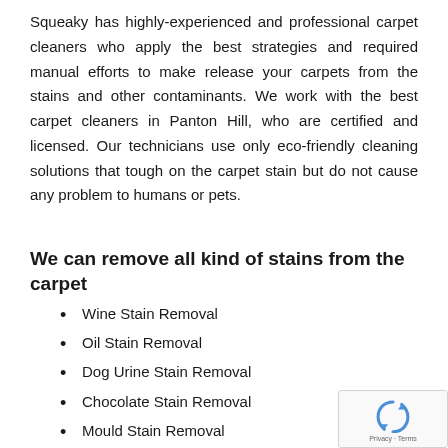Squeaky has highly-experienced and professional carpet cleaners who apply the best strategies and required manual efforts to make release your carpets from the stains and other contaminants. We work with the best carpet cleaners in Panton Hill, who are certified and licensed. Our technicians use only eco-friendly cleaning solutions that tough on the carpet stain but do not cause any problem to humans or pets.
We can remove all kind of stains from the carpet
Wine Stain Removal
Oil Stain Removal
Dog Urine Stain Removal
Chocolate Stain Removal
Mould Stain Removal